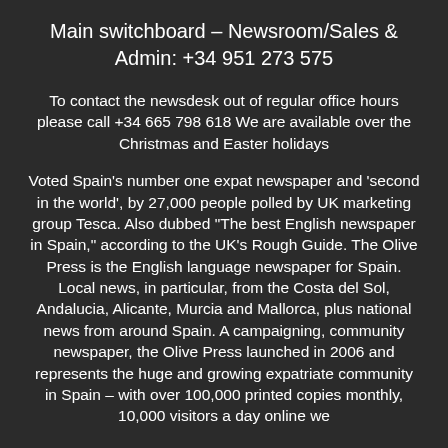Main switchboard – Newsroom/Sales & Admin: +34 951 273 575
To contact the newsdesk out of regular office hours please call +34 665 798 618 We are available over the Christmas and Easter holidays
Voted Spain’s number one expat newspaper and ‘second in the world’, by 27,000 people polled by UK marketing group Tesca. Also dubbed “The best English newspaper in Spain,” according to the UK’s Rough Guide. The Olive Press is the English language newspaper for Spain. Local news, in particular, from the Costa del Sol, Andalucia, Alicante, Murcia and Mallorca, plus national news from around Spain. A campaigning, community newspaper, the Olive Press launched in 2006 and represents the huge and growing expatriate community in Spain – with over 100,000 printed copies monthly, 10,000 visitors a day online we